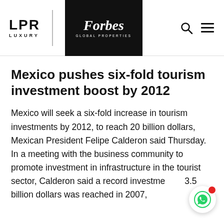LPR LUXURY | Forbes Global Properties
Mexico pushes six-fold tourism investment boost by 2012
Mexico will seek a six-fold increase in tourism investments by 2012, to reach 20 billion dollars, Mexican President Felipe Calderon said Thursday. In a meeting with the business community to promote investment in infrastructure in the tourist sector, Calderon said a record investment of 3.5 billion dollars was reached in 2007,